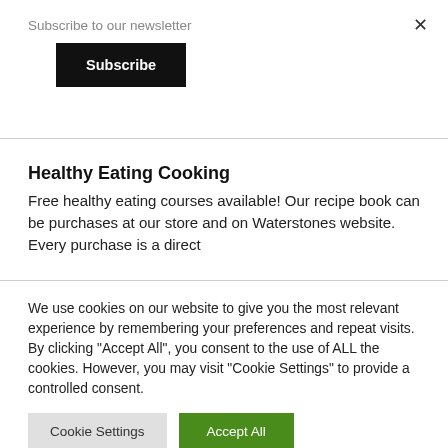Subscribe to our newsletter
Subscribe
Healthy Eating Cooking
Free healthy eating courses available! Our recipe book can be purchases at our store and on Waterstones website. Every purchase is a direct
We use cookies on our website to give you the most relevant experience by remembering your preferences and repeat visits. By clicking "Accept All", you consent to the use of ALL the cookies. However, you may visit "Cookie Settings" to provide a controlled consent.
Cookie Settings
Accept All